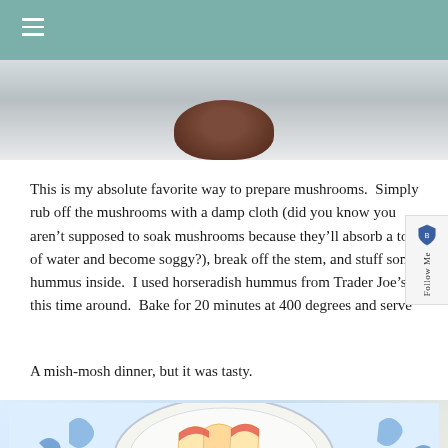[Figure (photo): Top portion of a photo showing a bowl of food (mushrooms with hummus) on a white plate, cropped at top of page]
This is my absolute favorite way to prepare mushrooms.  Simply rub off the mushrooms with a damp cloth (did you know you aren't supposed to soak mushrooms because they'll absorb a ton of water and become soggy?), break off the stem, and stuff some hummus inside.  I used horseradish hummus from Trader Joe's this time around.  Bake for 20 minutes at 400 degrees and serve
A mish-mosh dinner, but it was tasty.
[Figure (photo): Bottom portion showing a decorative plate with apple slices and garnish, partially cropped at bottom of page]